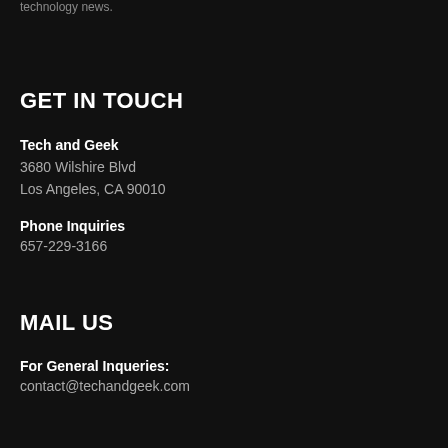technology news.
GET IN TOUCH
Tech and Geek
3680 Wilshire Blvd
Los Angeles, CA 90010
Phone Inquiries
657-229-3166
MAIL US
For General Inqueries:
contact@techandgeek.com